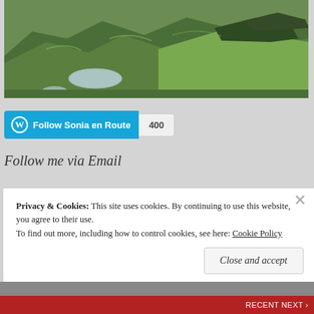[Figure (photo): Aerial landscape photo of green rolling hills and mountains with a small lake/loch visible, similar to Scottish Highlands (Quiraing area)]
[Figure (screenshot): WordPress 'Follow Sonia en Route' button in teal/blue with follower count badge showing 400]
Follow me via Email
Privacy & Cookies: This site uses cookies. By continuing to use this website, you agree to their use. To find out more, including how to control cookies, see here: Cookie Policy
Close and accept
RECENT NEXT